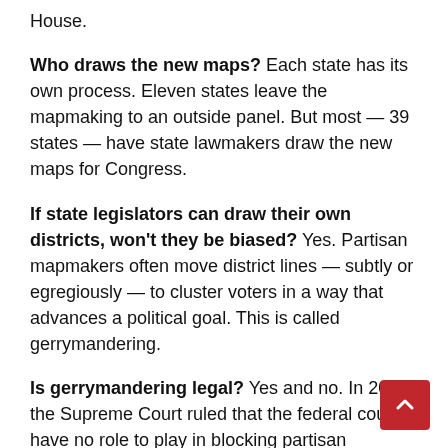House.
Who draws the new maps? Each state has its own process. Eleven states leave the mapmaking to an outside panel. But most — 39 states — have state lawmakers draw the new maps for Congress.
If state legislators can draw their own districts, won't they be biased? Yes. Partisan mapmakers often move district lines — subtly or egregiously — to cluster voters in a way that advances a political goal. This is called gerrymandering.
Is gerrymandering legal? Yes and no. In 2019, the Supreme Court ruled that the federal courts have no role to play in blocking partisan